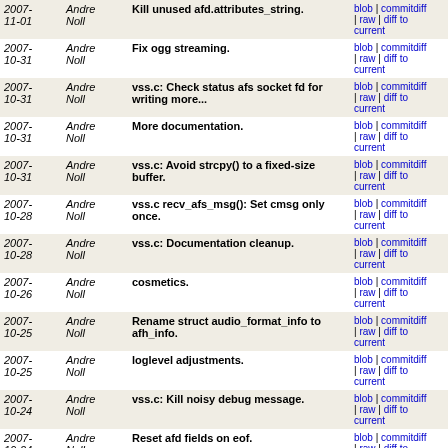| Date | Author | Message | Links |
| --- | --- | --- | --- |
| 2007-11-01 | Andre Noll | Kill unused afd.attributes_string. | blob | commitdiff | raw | diff to current |
| 2007-10-31 | Andre Noll | Fix ogg streaming. | blob | commitdiff | raw | diff to current |
| 2007-10-31 | Andre Noll | vss.c: Check status afs socket fd for writing more... | blob | commitdiff | raw | diff to current |
| 2007-10-31 | Andre Noll | More documentation. | blob | commitdiff | raw | diff to current |
| 2007-10-31 | Andre Noll | vss.c: Avoid strcpy() to a fixed-size buffer. | blob | commitdiff | raw | diff to current |
| 2007-10-28 | Andre Noll | vss.c recv_afs_msg(): Set cmsg only once. | blob | commitdiff | raw | diff to current |
| 2007-10-28 | Andre Noll | vss.c: Documentation cleanup. | blob | commitdiff | raw | diff to current |
| 2007-10-26 | Andre Noll | cosmetics. | blob | commitdiff | raw | diff to current |
| 2007-10-25 | Andre Noll | Rename struct audio_format_info to afh_info. | blob | commitdiff | raw | diff to current |
| 2007-10-25 | Andre Noll | loglevel adjustments. | blob | commitdiff | raw | diff to current |
| 2007-10-24 | Andre Noll | vss.c: Kill noisy debug message. | blob | commitdiff | raw | diff to current |
| 2007-10-24 | Andre Noll | Reset afd fields on eof. | blob | commitdiff | raw | diff to current |
| 2007-10-23 | Andre Noll | Get rid of mmd->filename. | blob | commitdiff | raw | diff to current |
| 2007-10-... | Andre ... | Get rid of mmd->audio_format... | blob | commitdiff |